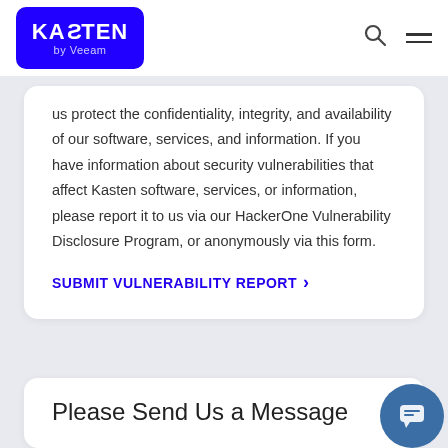KASTEN by Veeam — navigation bar with logo, search icon, and menu icon
us protect the confidentiality, integrity, and availability of our software, services, and information. If you have information about security vulnerabilities that affect Kasten software, services, or information, please report it to us via our HackerOne Vulnerability Disclosure Program, or anonymously via this form.
SUBMIT VULNERABILITY REPORT >
Please Send Us a Message